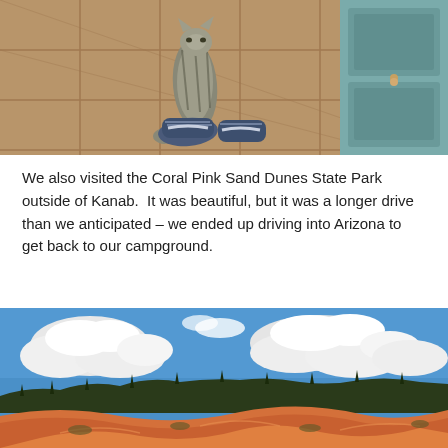[Figure (photo): Top-down view of a cat standing on tile floor near someone's sneakers and a teal/blue cabinet]
We also visited the Coral Pink Sand Dunes State Park outside of Kanab.  It was beautiful, but it was a longer drive than we anticipated – we ended up driving into Arizona to get back to our campground.
[Figure (photo): Panoramic landscape photo of Coral Pink Sand Dunes State Park showing orange sand dunes in foreground, dark green tree line in middle ground, and dramatic blue sky with white cumulus clouds]